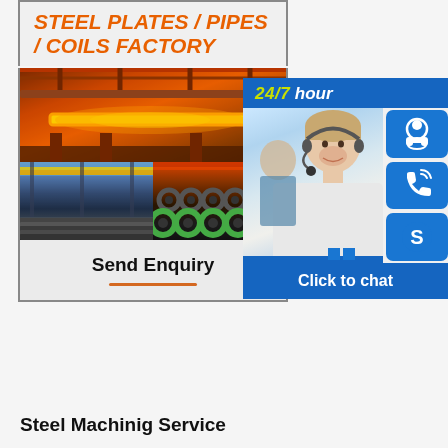STEEL PLATES / PIPES / COILS FACTORY
[Figure (photo): Steel factory images: top shows glowing hot steel beam being processed in orange-lit factory; bottom-left shows steel plates stacked in warehouse with yellow crane overhead; bottom-right shows rows of steel coils stacked in factory.]
Send Enquiry
[Figure (infographic): Customer service chat widget showing '24/7 hour' text in yellow-green on blue background, a female customer service agent with headset, and three blue icon buttons: headset/support icon, phone icon, and Skype 'S' icon. Below is a 'Click to chat' button bar.]
Steel Machinig Service